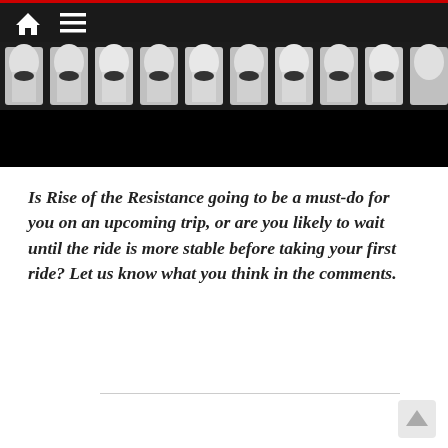Navigation bar with home and menu icons
[Figure (photo): A row of Star Wars Stormtrooper figures in white armor against a dark background, partially visible at the top of the image with a large black lower section]
Is Rise of the Resistance going to be a must-do for you on an upcoming trip, or are you likely to wait until the ride is more stable before taking your first ride? Let us know what you think in the comments.